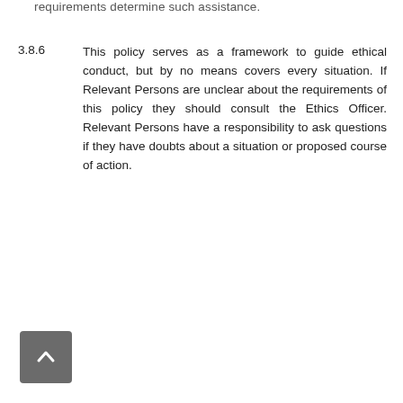requirements determine such assistance.
3.8.6	This policy serves as a framework to guide ethical conduct, but by no means covers every situation. If Relevant Persons are unclear about the requirements of this policy they should consult the Ethics Officer. Relevant Persons have a responsibility to ask questions if they have doubts about a situation or proposed course of action.